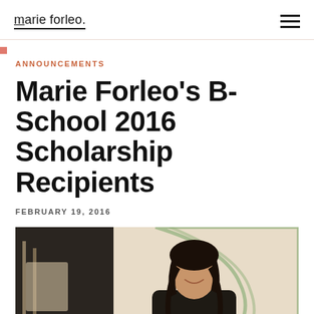marie forleo.
ANNOUNCEMENTS
Marie Forleo's B-School 2016 Scholarship Recipients
FEBRUARY 19, 2016
[Figure (photo): A smiling woman with dark hair sitting at what appears to be a cafe or workspace, wearing a dark jacket, with a light green curved wall element visible in the background.]